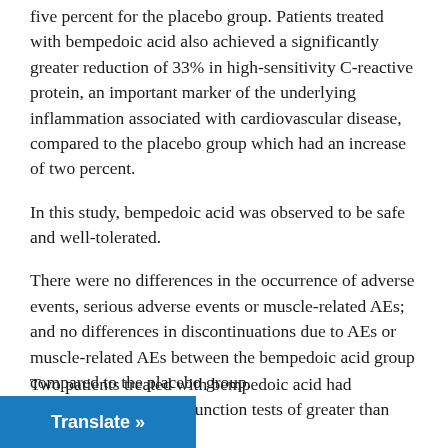five percent for the placebo group. Patients treated with bempedoic acid also achieved a significantly greater reduction of 33% in high-sensitivity C-reactive protein, an important marker of the underlying inflammation associated with cardiovascular disease, compared to the placebo group which had an increase of two percent.
In this study, bempedoic acid was observed to be safe and well-tolerated.
There were no differences in the occurrence of adverse events, serious adverse events or muscle-related AEs; and no differences in discontinuations due to AEs or muscle-related AEs between the bempedoic acid group compared to the placebo group.
Two patients treated with bempedoic acid had function tests of greater than three